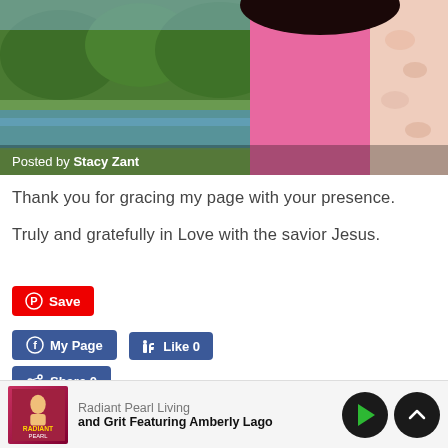[Figure (photo): Photo banner showing a person in a pink top with a floral scarf, standing near water with green trees in the background. Text overlay reads 'Posted by Stacy Zant']
Thank you for gracing my page with your presence.

Truly and gratefully in Love with the savior Jesus.
[Figure (screenshot): Pinterest Save button (red), Facebook My Page button (blue), Like 0 button (blue), Share 0 button (blue)]
Sharing is caring!
[Figure (screenshot): Audio player bar showing Radiant Pearl Living podcast thumbnail, text 'Radiant Pearl Living' and 'and Grit Featuring Amberly Lago', with play and up arrow controls]